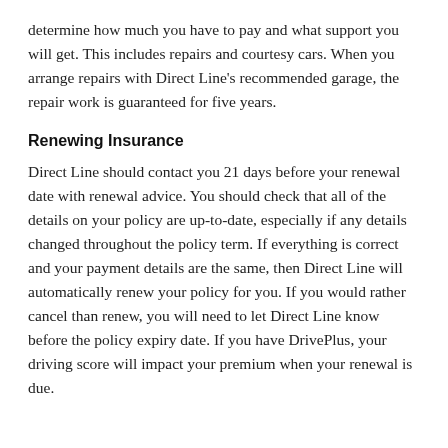determine how much you have to pay and what support you will get. This includes repairs and courtesy cars. When you arrange repairs with Direct Line's recommended garage, the repair work is guaranteed for five years.
Renewing Insurance
Direct Line should contact you 21 days before your renewal date with renewal advice. You should check that all of the details on your policy are up-to-date, especially if any details changed throughout the policy term. If everything is correct and your payment details are the same, then Direct Line will automatically renew your policy for you. If you would rather cancel than renew, you will need to let Direct Line know before the policy expiry date. If you have DrivePlus, your driving score will impact your premium when your renewal is due.